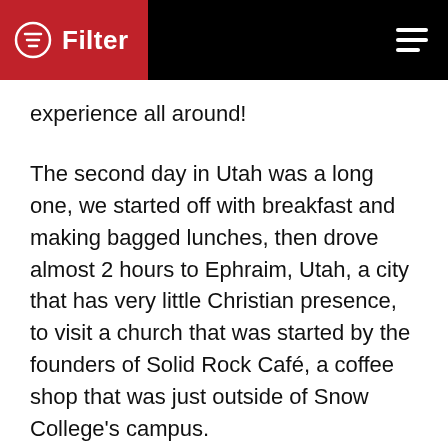Filter
experience all around!
The second day in Utah was a long one, we started off with breakfast and making bagged lunches, then drove almost 2 hours to Ephraim, Utah, a city that has very little Christian presence, to visit a church that was started by the founders of Solid Rock Café, a coffee shop that was just outside of Snow College's campus.